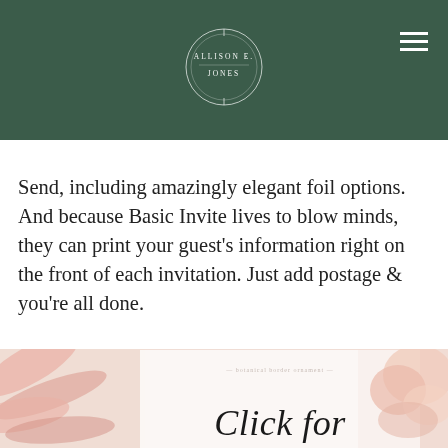solution that includes the invite as well as a tear off RSVP card. Currently, there are over 30 designs for the Seal & [ALLISON E. JONES logo, hamburger menu]
Send, including amazingly elegant foil options. And because Basic Invite lives to blow minds, they can print your guest’s information right on the front of each invitation. Just add postage & you’re all done.
[Figure (photo): Photo collage showing pink satin ribbon on left, a wedding invitation card in the center with decorative botanical border design, and pink roses/flowers on right. Text overlay reads 'Click for' in large italic serif font.]